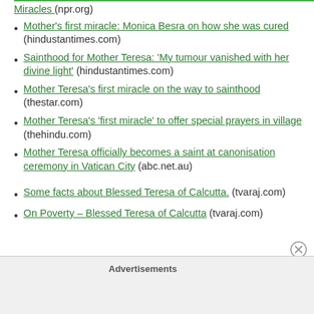Miracles (npr.org)
Mother's first miracle: Monica Besra on how she was cured (hindustantimes.com)
Sainthood for Mother Teresa: 'My tumour vanished with her divine light' (hindustantimes.com)
Mother Teresa's first miracle on the way to sainthood (thestar.com)
Mother Teresa's 'first miracle' to offer special prayers in village (thehindu.com)
Mother Teresa officially becomes a saint at canonisation ceremony in Vatican City (abc.net.au)
Some facts about Blessed Teresa of Calcutta. (tvaraj.com)
On Poverty – Blessed Teresa of Calcutta (tvaraj.com)
Advertisements